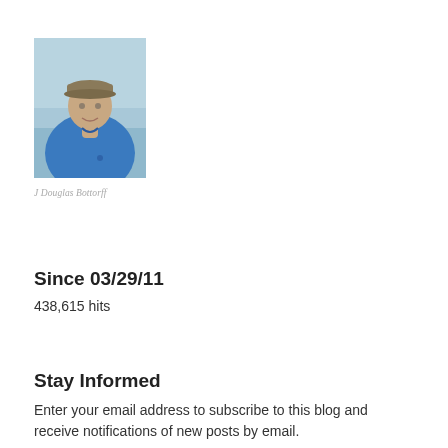[Figure (photo): Photo of a man wearing a tan cap and blue hoodie jacket, standing outdoors near what appears to be a beach or waterfront with a light blue sky background.]
J Douglas Bottorff
Since 03/29/11
438,615 hits
Stay Informed
Enter your email address to subscribe to this blog and receive notifications of new posts by email.